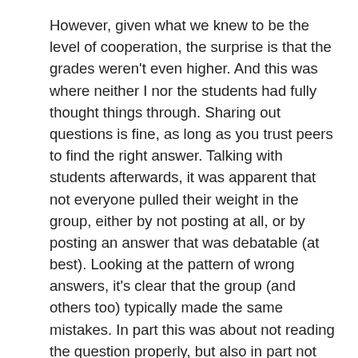However, given what we knew to be the level of cooperation, the surprise is that the grades weren't even higher.  And this was where neither I nor the students had fully thought things through.  Sharing out questions is fine, as long as you trust peers to find the right answer.  Talking with students afterwards, it was apparent that not everyone pulled their weight in the group, either by not posting at all, or by posting an answer that was debatable (at best).  Looking at the pattern of wrong answers, it's clear that the group (and others too) typically made the same mistakes.  In part this was about not reading the question properly, but also in part not having robust verification mechanisms in place.
Some students haven't been happy about the free-riding (coincidentally one the topics in the exam), although I'm still impressed that they were at least willing to give it a go in the first place.  While some students were clear that